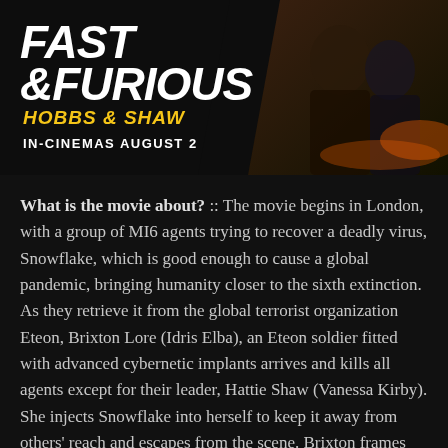[Figure (illustration): Fast & Furious Hobbs & Shaw movie promotional banner. Left side shows the logo: 'FAST & FURIOUS' in large white bold italic text, 'HOBBS & SHAW' in yellow below, and 'IN-CINEMAS AUGUST 2' in white. Right side shows movie poster imagery with characters on a dark background.]
What is the movie about? :: The movie begins in London, with a group of MI6 agents trying to recover a deadly virus, Snowflake, which is good enough to cause a global pandemic, bringing humanity closer to the sixth extinction. As they retrieve it from the global terrorist organization Eteon, Brixton Lore (Idris Elba), an Eteon soldier fitted with advanced cybernetic implants arrives and kills all agents except for their leader, Hattie Shaw (Vanessa Kirby). She injects Snowflake into herself to keep it away from others' reach and escapes from the scene. Brixton frames her as a traitor who killed her team and stole Snowflake, and it leads to her being on the run from more than one intelligence agency. Both Luke Hobbs (Dwayne Johnson a.k.a. The Rock) and Deckard Shaw (Jason Statham) are given the duty